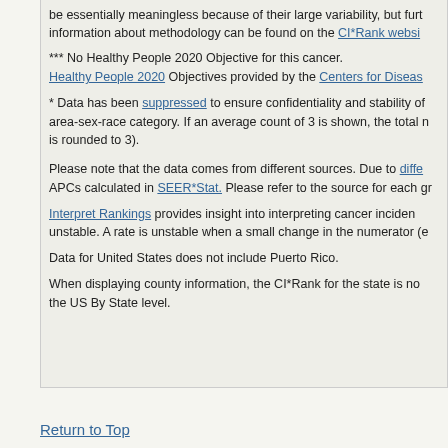be essentially meaningless because of their large variability, but further information about methodology can be found on the CI*Rank websi...
*** No Healthy People 2020 Objective for this cancer. Healthy People 2020 Objectives provided by the Centers for Diseas...
* Data has been suppressed to ensure confidentiality and stability of area-sex-race category. If an average count of 3 is shown, the total n... is rounded to 3).
Please note that the data comes from different sources. Due to diffe... APCs calculated in SEER*Stat. Please refer to the source for each gr...
Interpret Rankings provides insight into interpreting cancer inciden... unstable. A rate is unstable when a small change in the numerator (e...
Data for United States does not include Puerto Rico.
When displaying county information, the CI*Rank for the state is no... the US By State level.
Return to Top